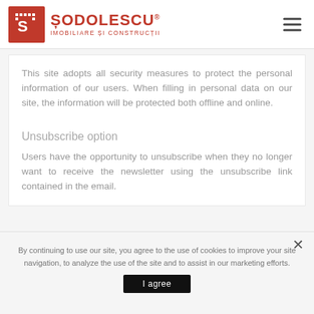SODOLESCU® IMOBILIARE ȘI CONSTRUCȚII
This site adopts all security measures to protect the personal information of our users. When filling in personal data on our site, the information will be protected both offline and online.
Unsubscribe option
Users have the opportunity to unsubscribe when they no longer want to receive the newsletter using the unsubscribe link contained in the email.
By continuing to use our site, you agree to the use of cookies to improve your site navigation, to analyze the use of the site and to assist in our marketing efforts.